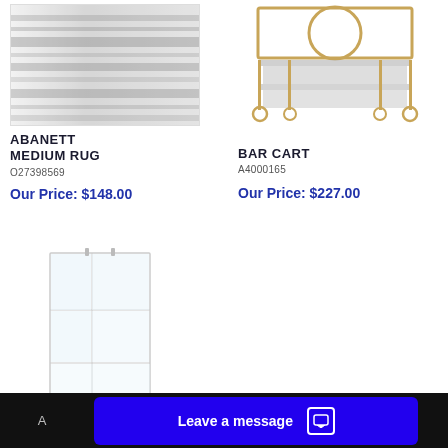[Figure (photo): Product image of Abanett Medium Rug - gray/white abstract striped pattern]
ABANETT MEDIUM RUG
O27398569
Our Price: $148.00
[Figure (photo): Product image of Bar Cart - gold metal frame with glass shelves and wheels]
BAR CART
A4000165
Our Price: $227.00
[Figure (photo): Product image of a clear acrylic/glass display cabinet with multiple shelves]
Leave a message